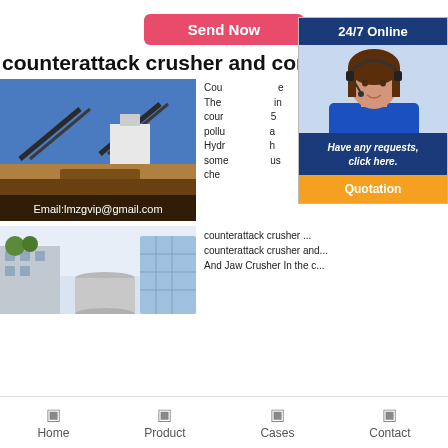[Figure (screenshot): Send Now red button on white background]
counterattack crusher and cor... li
[Figure (photo): Mining/industrial equipment site with conveyors under blue sky, with email overlay: Email:lmzgvip@gmail.com]
[Figure (photo): 24/7 Online chat widget with female customer service representative wearing headset, blue uniform. Has 'Have any requests, click here.' message and orange Quotation button]
Cou... e... The ... in counter... 5... pollu... a... Hydr... h... some... us... che...
[Figure (photo): Modern building interior/exterior with cylindrical structure and glass facade]
counterattack crusher and counterattack crusher and ... And Jaw Crusher In the c...
Home   Product   Cases   Contact